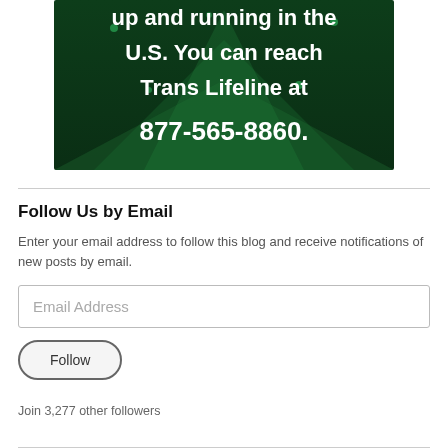[Figure (illustration): Dark green background with triangular chevron patterns and white bold text reading: 'up and running in the U.S. You can reach Trans Lifeline at 877-565-8860.']
Follow Us by Email
Enter your email address to follow this blog and receive notifications of new posts by email.
Email Address
Follow
Join 3,277 other followers